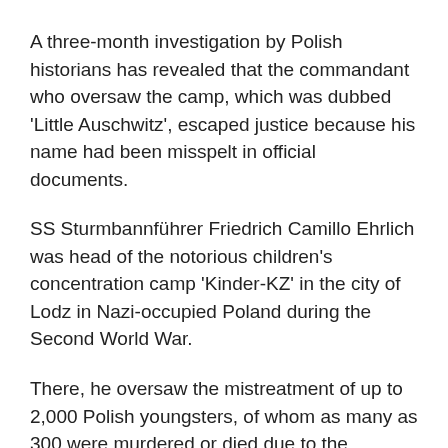A three-month investigation by Polish historians has revealed that the commandant who oversaw the camp, which was dubbed 'Little Auschwitz', escaped justice because his name had been misspelt in official documents.
SS Sturmbannführer Friedrich Camillo Ehrlich was head of the notorious children's concentration camp 'Kinder-KZ' in the city of Lodz in Nazi-occupied Poland during the Second World War.
There, he oversaw the mistreatment of up to 2,000 Polish youngsters, of whom as many as 300 were murdered or died due to the horrendous conditions.
Captured by the Red Army and sentenced to life imprisonment at the end of the war, Ehrlich was later released by East German authorities - and then disappeared.